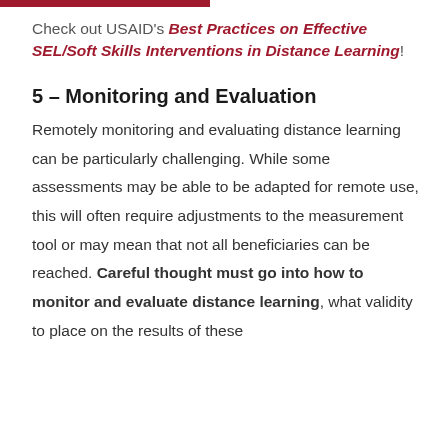Check out USAID's Best Practices on Effective SEL/Soft Skills Interventions in Distance Learning!
5 – Monitoring and Evaluation
Remotely monitoring and evaluating distance learning can be particularly challenging. While some assessments may be able to be adapted for remote use, this will often require adjustments to the measurement tool or may mean that not all beneficiaries can be reached. Careful thought must go into how to monitor and evaluate distance learning, what validity to place on the results of these